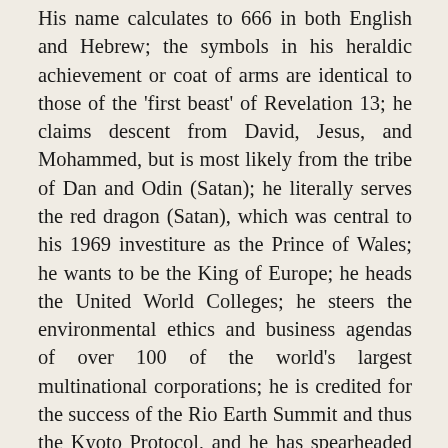His name calculates to 666 in both English and Hebrew; the symbols in his heraldic achievement or coat of arms are identical to those of the 'first beast' of Revelation 13; he claims descent from David, Jesus, and Mohammed, but is most likely from the tribe of Dan and Odin (Satan); he literally serves the red dragon (Satan), which was central to his 1969 investiture as the Prince of Wales; he wants to be the King of Europe; he heads the United World Colleges; he steers the environmental ethics and business agendas of over 100 of the world's largest multinational corporations; he is credited for the success of the Rio Earth Summit and thus the Kyoto Protocol, and he has spearheaded the push for enforceable environmentalism worldwide; he initiated the Global Security Programme and its lecture series, for which Mikhail Gorbachev has become a spokesperson; he has partnered with the United Nations and the World Bank; he appears to be responsible for the initiation of the current